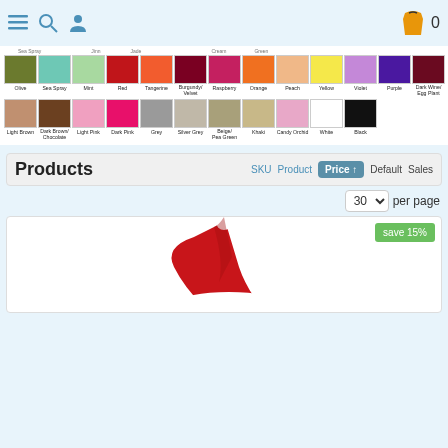[Figure (screenshot): E-commerce website navigation bar with menu, search, user icons and shopping cart showing 0]
[Figure (infographic): Color swatch grid showing product color options: Row 1 partial labels visible. Row 2: Olive, Sea Spray, Mint, Red, Tangerine, Burgundy/Velvet, Raspberry, Orange, Peach, Yellow, Violet, Purple, Dark Wine/Egg Plant. Row 3: Light Brown, Dark Brown/Chocolate, Light Pink, Dark Pink, Grey, Silver Grey, Beige/Pea Green, Khaki, Candy Orchid, White, Black]
Products
SKU  Product  Price ↑  Default  Sales
30 per page
[Figure (photo): Santa hat product image with red hat and white trim, partially visible from bottom]
save 15%